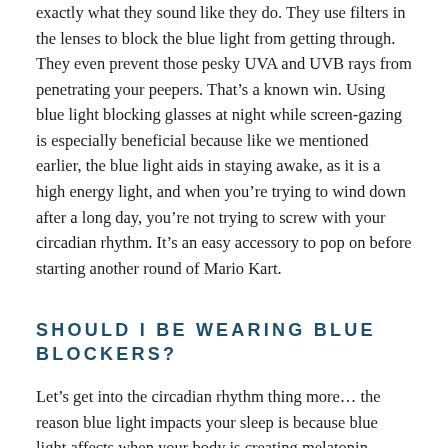exactly what they sound like they do. They use filters in the lenses to block the blue light from getting through. They even prevent those pesky UVA and UVB rays from penetrating your peepers. That's a known win. Using blue light blocking glasses at night while screen-gazing is especially beneficial because like we mentioned earlier, the blue light aids in staying awake, as it is a high energy light, and when you're trying to wind down after a long day, you're not trying to screw with your circadian rhythm. It's an easy accessory to pop on before starting another round of Mario Kart.
SHOULD I BE WEARING BLUE BLOCKERS?
Let's get into the circadian rhythm thing more… the reason blue light impacts your sleep is because blue light affects when your body is creating melatonin. Melatonin is a hormone that regulates the sleep and wake cycle. So if you want to eliminate falling asleep in a sea of blue light…